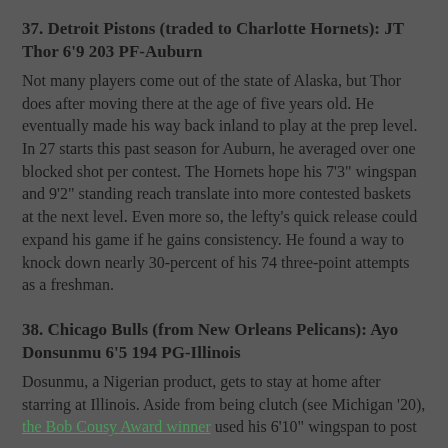37. Detroit Pistons (traded to Charlotte Hornets): JT Thor 6'9 203 PF-Auburn
Not many players come out of the state of Alaska, but Thor does after moving there at the age of five years old. He eventually made his way back inland to play at the prep level. In 27 starts this past season for Auburn, he averaged over one blocked shot per contest. The Hornets hope his 7'3" wingspan and 9'2" standing reach translate into more contested baskets at the next level. Even more so, the lefty's quick release could expand his game if he gains consistency. He found a way to knock down nearly 30-percent of his 74 three-point attempts as a freshman.
38. Chicago Bulls (from New Orleans Pelicans): Ayo Donsunmu 6'5 194 PG-Illinois
Dosunmu, a Nigerian product, gets to stay at home after starring at Illinois. Aside from being clutch (see Michigan '20), the Bob Cousy Award winner used his 6'10" wingspan to post